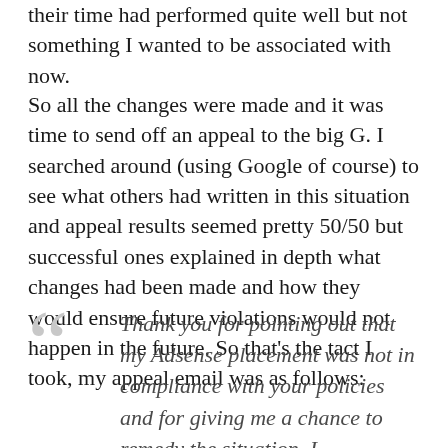their time had performed quite well but not something I wanted to be associated with now.
So all the changes were made and it was time to send off an appeal to the big G. I searched around (using Google of course) to see what others had written in this situation and appeal results seemed pretty 50/50 but successful ones explained in depth what changes had been made and how they would ensure future violations would not happen in the future. So that's the tact I took, my appeal email was as follows:
Thank you for pointing out that my Adsense placement was not in compliance with your policies and for giving me a chance to remedy the situation. I understand now listing and